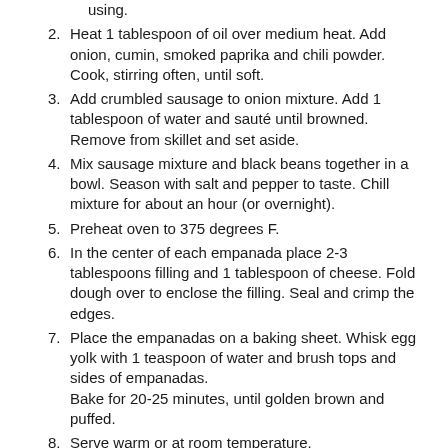using.
2. Heat 1 tablespoon of oil over medium heat. Add onion, cumin, smoked paprika and chili powder. Cook, stirring often, until soft.
3. Add crumbled sausage to onion mixture. Add 1 tablespoon of water and sauté until browned. Remove from skillet and set aside.
4. Mix sausage mixture and black beans together in a bowl. Season with salt and pepper to taste. Chill mixture for about an hour (or overnight).
5. Preheat oven to 375 degrees F.
6. In the center of each empanada place 2-3 tablespoons filling and 1 tablespoon of cheese. Fold dough over to enclose the filling. Seal and crimp the edges.
7. Place the empanadas on a baking sheet. Whisk egg yolk with 1 teaspoon of water and brush tops and sides of empanadas. Bake for 20-25 minutes, until golden brown and puffed.
8. Serve warm or at room temperature.
Kitchen Notes: Omit sausage for a vegetarian dish.